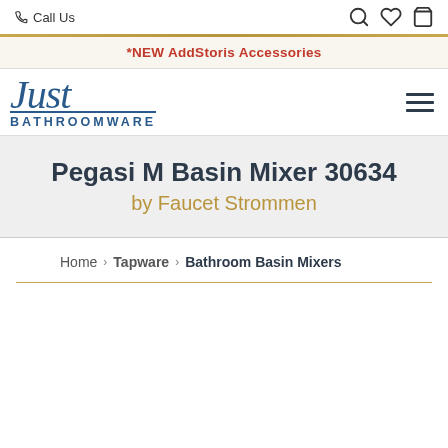Call Us
*NEW AddStoris Accessories
[Figure (logo): Just Bathroomware logo in blue serif/sans-serif combination]
Pegasi M Basin Mixer 30634
by Faucet Strommen
Home > Tapware > Bathroom Basin Mixers